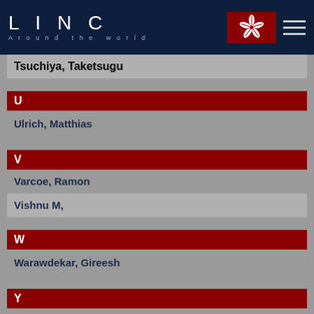LINC Around the world
Tsuchiya, Taketsugu
U
Ulrich, Matthias
V
Varcoe, Ramon
Vishnu M,
W
Warawdekar, Gireesh
Y
Yahaya, Shaiful Azmi